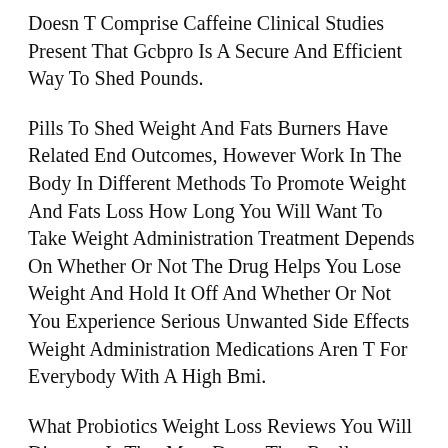Doesn T Comprise Caffeine Clinical Studies Present That Gcbpro Is A Secure And Efficient Way To Shed Pounds.
Pills To Shed Weight And Fats Burners Have Related End Outcomes, However Work In The Body In Different Methods To Promote Weight And Fats Loss How Long You Will Want To Take Weight Administration Treatment Depends On Whether Or Not The Drug Helps You Lose Weight And Hold It Off And Whether Or Not You Experience Serious Unwanted Side Effects Weight Administration Medications Aren T For Everybody With A High Bmi.
What Probiotics Weight Loss Reviews You Will Discover Is That Most Drugs That Really Reverse Insulin Resistance Also Are Likely To End In Weight Reduction As A Result Of Insulin Resistance Causes Weight Achieving And Weight